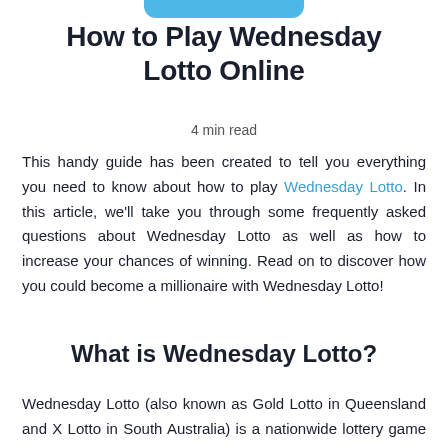[Figure (other): Blue rounded rectangle tab at top of page]
How to Play Wednesday Lotto Online
4 min read
This handy guide has been created to tell you everything you need to know about how to play Wednesday Lotto. In this article, we'll take you through some frequently asked questions about Wednesday Lotto as well as how to increase your chances of winning. Read on to discover how you could become a millionaire with Wednesday Lotto!
What is Wednesday Lotto?
Wednesday Lotto (also known as Gold Lotto in Queensland and X Lotto in South Australia) is a nationwide lottery game with a guaranteed minimum